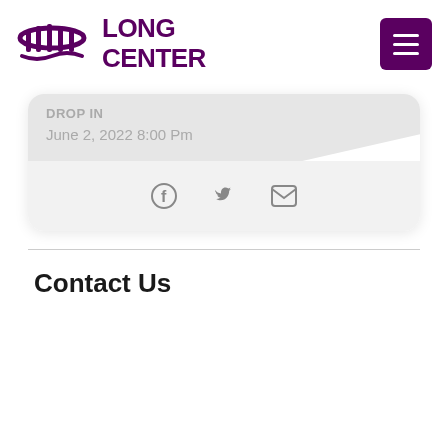[Figure (logo): Long Center logo with purple arch icon and 'LONG CENTER' text in bold purple]
[Figure (other): Purple hamburger/menu button with three white horizontal lines]
DROP IN
June 2, 2022 8:00 Pm
[Figure (other): Social share icons: Facebook, Twitter, Email in gray]
Contact Us